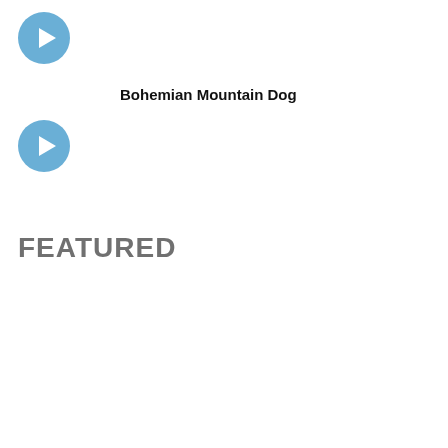[Figure (other): Blue circular play button icon, first instance]
Bohemian Mountain Dog
[Figure (other): Blue circular play button icon, second instance]
FEATURED